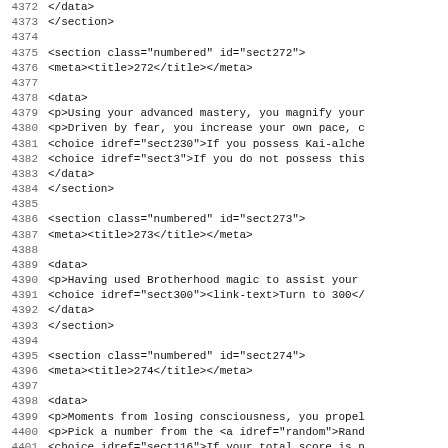4371 (partial top line clipped)
4372     </data>
4373     </section>
4374
4375     <section class="numbered" id="sect272">
4376      <meta><title>272</title></meta>
4377
4378      <data>
4379       <p>Using your advanced mastery, you magnify your
4380       <p>Driven by fear, you increase your own pace, c
4381       <choice idref="sect230">If you possess Kai-alche
4382       <choice idref="sect3">If you do not possess this
4383      </data>
4384     </section>
4385
4386     <section class="numbered" id="sect273">
4387      <meta><title>273</title></meta>
4388
4389      <data>
4390       <p>Having used Brotherhood magic to assist your
4391       <choice idref="sect300"><link-text>Turn to 300</
4392      </data>
4393     </section>
4394
4395     <section class="numbered" id="sect274">
4396      <meta><title>274</title></meta>
4397
4398      <data>
4399       <p>Moments from losing consciousness, you propel
4400       <p>Pick a number from the <a idref="random">Rand
4401       <choice idref="sect116">If your total score is n
4402       <choice idref="sect157">If it is 6 or higher, <l
4403      </data>